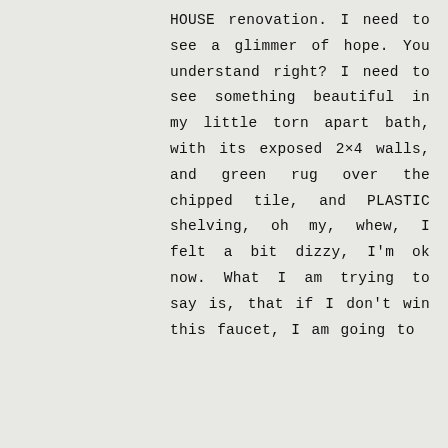HOUSE renovation. I need to see a glimmer of hope. You understand right? I need to see something beautiful in my little torn apart bath, with its exposed 2×4 walls, and green rug over the chipped tile, and PLASTIC shelving, oh my, whew, I felt a bit dizzy, I'm ok now. What I am trying to say is, that if I don't win this faucet, I am going to